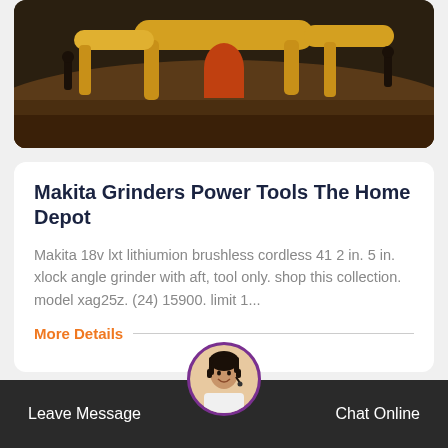[Figure (photo): Industrial scene with large yellow pipes/machinery on dirt ground with workers in the background, dark toned image.]
Makita Grinders Power Tools The Home Depot
Makita 18v lxt lithiumion brushless cordless 41 2 in. 5 in. xlock angle grinder with aft, tool only. shop this collection. model xag25z. (24) 15900. limit 1...
More Details
[Figure (photo): Glass ceiling/atrium structure with blue sky visible through steel frame.]
Leave Message
Chat Online